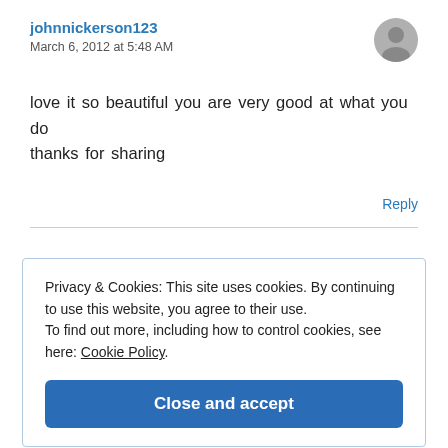johnnickerson123
March 6, 2012 at 5:48 AM
love it so beautiful you are very good at what you do thanks for sharing
Reply
Privacy & Cookies: This site uses cookies. By continuing to use this website, you agree to their use. To find out more, including how to control cookies, see here: Cookie Policy.
Close and accept